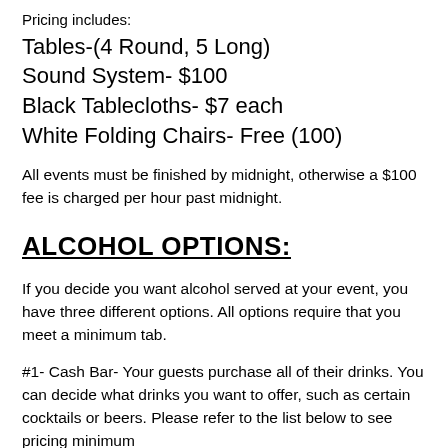Pricing includes:
Tables-(4 Round, 5 Long)
Sound System- $100
Black Tablecloths- $7 each
White Folding Chairs- Free (100)
All events must be finished by midnight, otherwise a $100 fee is charged per hour past midnight.
ALCOHOL OPTIONS:
If you decide you want alcohol served at your event, you have three different options. All options require that you meet a minimum tab.
#1- Cash Bar- Your guests purchase all of their drinks. You can decide what drinks you want to offer, such as certain cocktails or beers. Please refer to the list below to see pricing minimum